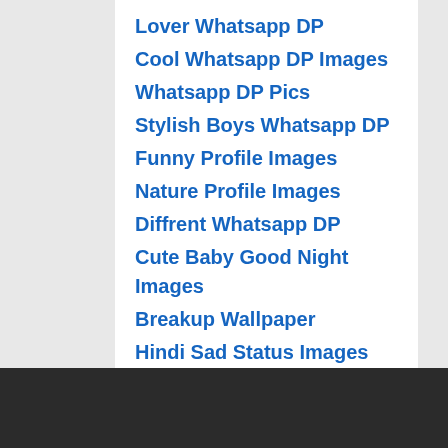Lover Whatsapp DP
Cool Whatsapp DP Images
Whatsapp DP Pics
Stylish Boys Whatsapp DP
Funny Profile Images
Nature Profile Images
Diffrent Whatsapp DP
Cute Baby Good Night Images
Breakup Wallpaper
Hindi Sad Status Images
Attitude Profile Pics
Latest Profile Whatsapp DP
Sweet Profile Images
Good Morning Images
Punjabi Whatsapp DP
Romantic DP Images